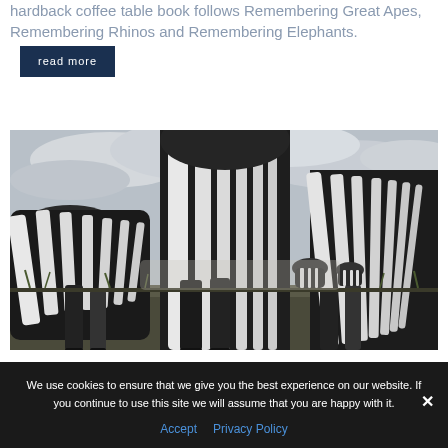hardback coffee table book follows Remembering Great Apes, Remembering Rhinos and Remembering Elephants.
read more
[Figure (photo): Black and white photograph of zebras taken from a low angle, showing zebra legs and striped bodies close up, with more zebras visible in the background against a cloudy sky.]
We use cookies to ensure that we give you the best experience on our website. If you continue to use this site we will assume that you are happy with it.
Accept   Privacy Policy